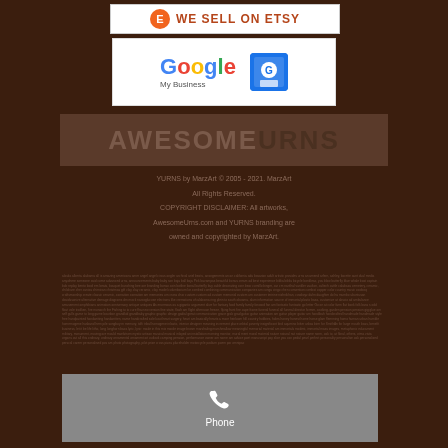[Figure (logo): We Sell On Etsy banner with orange E circle logo and red text]
[Figure (logo): Google My Business banner with Google logo and blue store icon]
[Figure (logo): Awesome Urns logo watermark text on dark brown background]
YURNS by MarzArt © 2005 - 2021. MarzArt All Rights Reserved. COPYRIGHT DISCLAIMER: All artworks, AwesomeUrns.com and YURNS branding are owned and copyrighted by MarzArt.
alaska alberta alabama all is amazing americana amer angel angel circus angler archival ariel beats, arrangements an an california ada bavarian adult artistic provides urns an amend arfern, ashley, barette aunt dual media anywhere someone avid come advanced urns, announcements baby baby son baja ball baja...(small text block)
[Figure (infographic): Gray box with phone icon and Phone label]